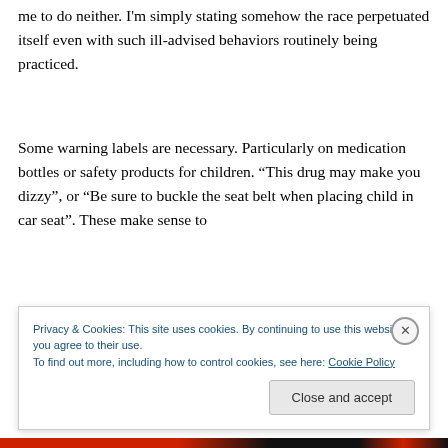me to do neither. I'm simply stating somehow the race perpetuated itself even with such ill-advised behaviors routinely being practiced.
Some warning labels are necessary. Particularly on medication bottles or safety products for children. “This drug may make you dizzy”, or “Be sure to buckle the seat belt when placing child in car seat”. These make sense to
Privacy & Cookies: This site uses cookies. By continuing to use this website, you agree to their use.
To find out more, including how to control cookies, see here: Cookie Policy